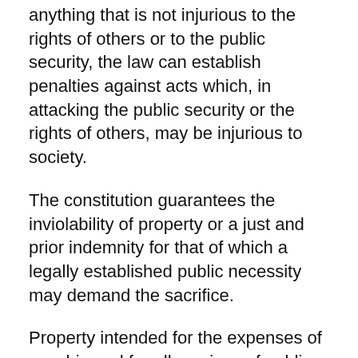anything that is not injurious to the rights of others or to the public security, the law can establish penalties against acts which, in attacking the public security or the rights of others, may be injurious to society.
The constitution guarantees the inviolability of property or a just and prior indemnity for that of which a legally established public necessity may demand the sacrifice.
Property intended for the expenses of worship and for all services of public utility belongs to the nation and is at all times at its disposal.
The constitution guarantees the alienations that have been or that shall be made under the forms established by law.
The citizens have the right to elect or choose the ministers of their religious sects.
The shall be not the deriving the not the